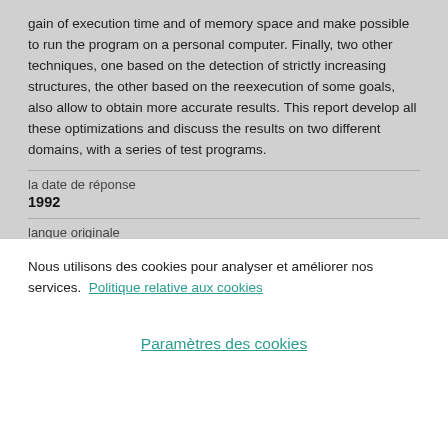gain of execution time and of memory space and make possible to run the program on a personal computer. Finally, two other techniques, one based on the detection of strictly increasing structures, the other based on the reexecution of some goals, also allow to obtain more accurate results. This report develop all these optimizations and discuss the results on two different domains, with a series of test programs.
la date de réponse
1992
langue originale
Anglais
Nous utilisons des cookies pour analyser et améliorer nos services. Politique relative aux cookies
Paramètres des cookies